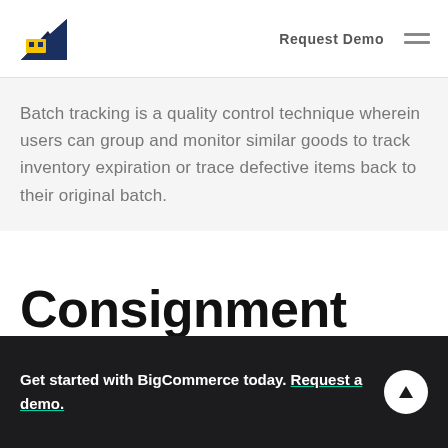Request Demo
Batch tracking is a quality control technique wherein users can group and monitor similar goods to track inventory expiration or trace defective items back to their original batch.
Consignment inventory.
Get started with BigCommerce today. Request a demo.